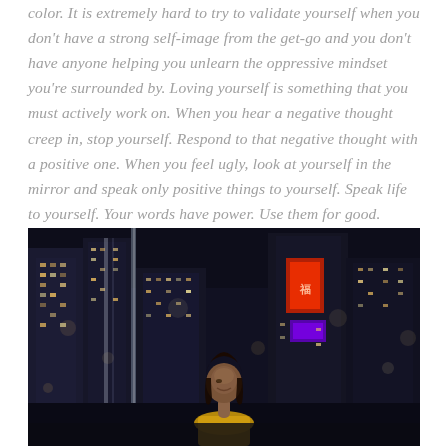color. It is extremely hard to try to validate yourself when you don't have a strong self-image from the get-go and you don't have anyone helping you unlearn the oppressive mindset you're surrounded by. Loving yourself is something that you must actively work on. When you hear a negative thought creep in, stop yourself. Respond to that negative thought with a positive one. When you feel ugly, look at yourself in the mirror and speak only positive things to yourself. Speak life to yourself. Your words have power. Use them for good.
[Figure (photo): A young woman of color looking upward with a slight smile, photographed at night in an urban setting with illuminated city skyscrapers in the background. She is wearing a yellow/golden top. The city lights create a bokeh effect in the background.]